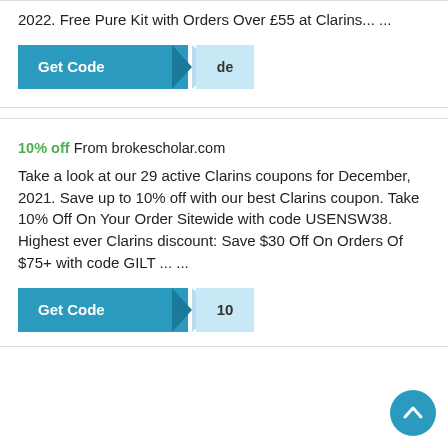2022. Free Pure Kit with Orders Over £55 at Clarins... ...
[Figure (other): Get Code button with arrow and 'de' code reveal]
10% off From brokescholar.com
Take a look at our 29 active Clarins coupons for December, 2021. Save up to 10% off with our best Clarins coupon. Take 10% Off On Your Order Sitewide with code USENSW38. Highest ever Clarins discount: Save $30 Off On Orders Of $75+ with code GILT ... ...
[Figure (other): Get Code button with arrow and '10' code reveal]
[Figure (other): Scroll to top circular button]